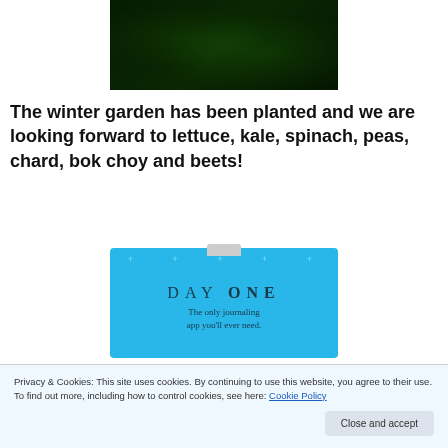[Figure (photo): Photo of a garden with green leafy plants, kale, and herbs]
The winter garden has been planted and we are looking forward to lettuce, kale, spinach, peas, chard, bok choy and beets!
[Figure (screenshot): DAY ONE app advertisement: 'The only journaling app you'll ever need.']
Privacy & Cookies: This site uses cookies. By continuing to use this website, you agree to their use.
To find out more, including how to control cookies, see here: Cookie Policy
Close and accept